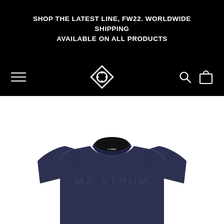SHOP THE LATEST LINE, FW22. WORLDWIDE SHIPPING AVAILABLE ON ALL PRODUCTS
[Figure (screenshot): E-commerce website navigation bar with hamburger menu icon on left, diamond-shaped brand logo in center, search icon and shopping bag icon on right, all in white on black background]
[Figure (photo): Navy blue crew-neck sweatshirt with embossed brand name text on chest and small logo tag at collar, displayed flat on white background]